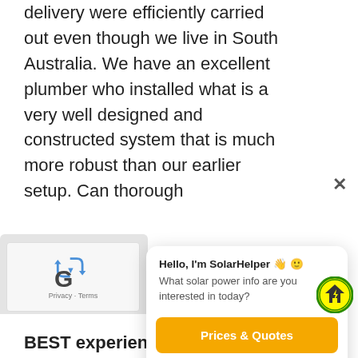delivery were efficiently carried out even though we live in South Australia. We have an excellent plumber who installed what is a very well designed and constructed system that is much more robust than our earlier setup. Can thorough process a with the B
[Figure (screenshot): Chat popup widget with SolarHelper bot interface showing greeting and menu options: Prices & Quotes (yellow button), Service Support, General Enquiry]
[Figure (logo): reCAPTCHA widget with recycling arrows logo and Privacy - Terms links]
G
BEST experience with the BEST